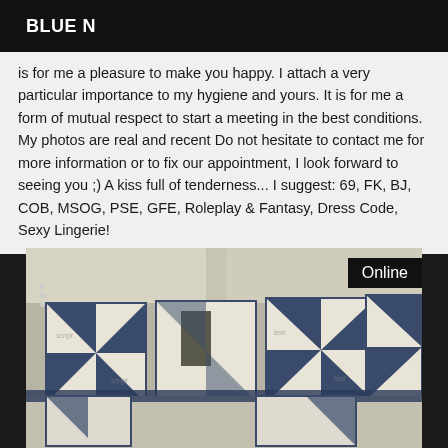BLUE N
is for me a pleasure to make you happy. I attach a very particular importance to my hygiene and yours. It is for me a form of mutual respect to start a meeting in the best conditions. My photos are real and recent Do not hesitate to contact me for more information or to fix our appointment, I look forward to seeing you ;) A kiss full of tenderness... I suggest: 69, FK, BJ, COB, MSOG, PSE, GFE, Roleplay & Fantasy, Dress Code, Sexy Lingerie!
[Figure (photo): Photo of a bed with a blue and white pinwheel patterned quilt/blanket. The word 'Online' appears in white text on a black background in the upper right corner. Three small dots are visible on the left side.]